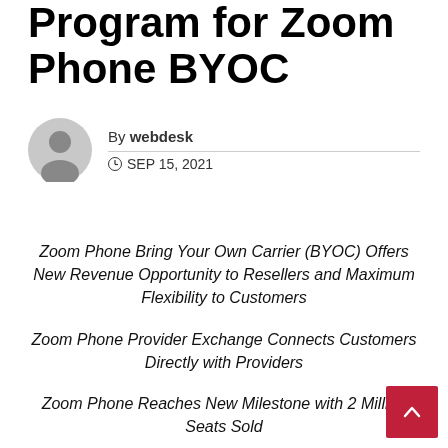Program for Zoom Phone BYOC
By webdesk
SEP 15, 2021
Zoom Phone Bring Your Own Carrier (BYOC) Offers New Revenue Opportunity to Resellers and Maximum Flexibility to Customers
Zoom Phone Provider Exchange Connects Customers Directly with Providers
Zoom Phone Reaches New Milestone with 2 Million Seats Sold